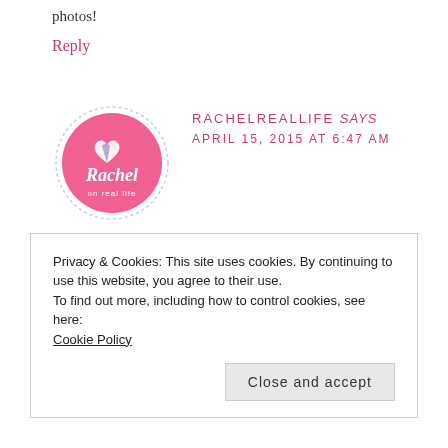photos!
Reply
[Figure (logo): Rachel on Real Life circular pink logo with white heart and script text]
RACHELREALLIFE says APRIL 15, 2015 AT 6:47 AM
Privacy & Cookies: This site uses cookies. By continuing to use this website, you agree to their use. To find out more, including how to control cookies, see here: Cookie Policy
Close and accept